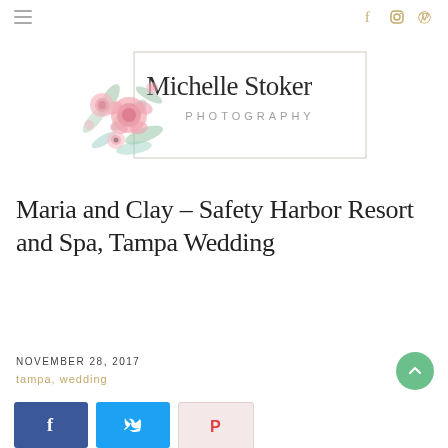≡  f  ○  ℗
[Figure (logo): Michelle Stoker Photography logo with watercolor floral arrangement (pink roses, green leaves) on the left overlapping a rectangular border, with 'Michelle Stoker' in large serif text and 'PHOTOGRAPHY' in spaced gray uppercase letters]
Maria and Clay – Safety Harbor Resort and Spa, Tampa Wedding
NOVEMBER 28, 2017
tampa, wedding
[Figure (infographic): Social share buttons: Facebook (blue), Twitter (cyan), Pinterest (light pink)]